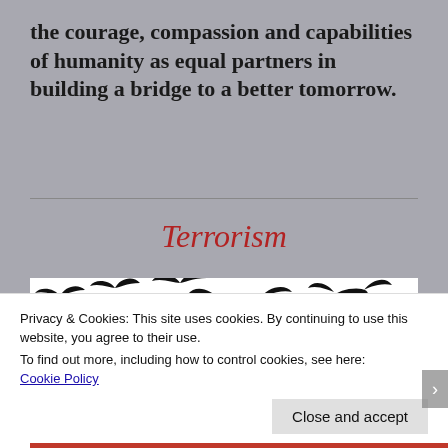the courage, compassion and capabilities of humanity as equal partners in building a bridge to a better tomorrow.
Terrorism
[Figure (illustration): Silhouettes of birds in flight scattered across a white background, black shapes of various sizes and poses representing birds flying in different directions.]
Privacy & Cookies: This site uses cookies. By continuing to use this website, you agree to their use.
To find out more, including how to control cookies, see here:
Cookie Policy
Close and accept